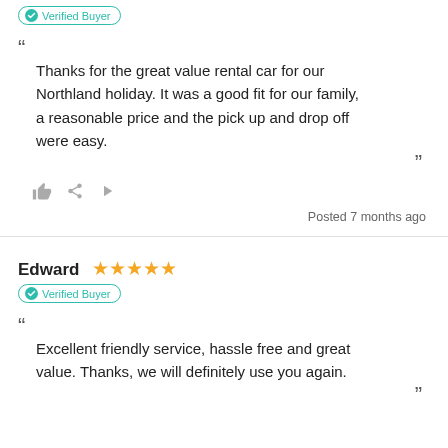[Figure (other): Verified Buyer badge (teal outlined pill with checkmark icon)]
“ Thanks for the great value rental car for our Northland holiday. It was a good fit for our family, a reasonable price and the pick up and drop off were easy. ”
[Figure (other): Action icons: thumbs up, share, flag]
Posted 7 months ago
Edward ★★★★★
[Figure (other): Verified Buyer badge (teal outlined pill with checkmark icon)]
“ Excellent friendly service, hassle free and great value. Thanks, we will definitely use you again. ”